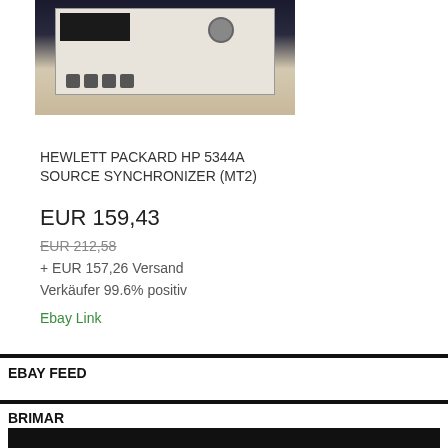[Figure (photo): Photo of a Hewlett Packard HP 5344A Source Synchronizer electronic instrument, white/beige unit with display and knobs]
HEWLETT PACKARD HP 5344A SOURCE SYNCHRONIZER (MT2)
EUR 159,43
EUR 212,58
+ EUR 157,26 Versand
Verkäufer 99.6% positiv
Ebay Link
EBAY FEED
BRIMAR
[Figure (photo): Partial view of another product image at bottom of page, dark/black background]